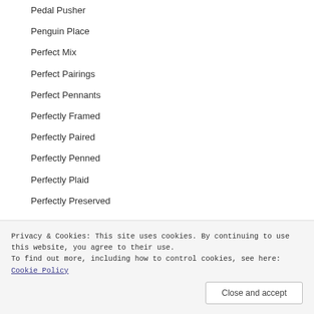Pedal Pusher
Penguin Place
Perfect Mix
Perfect Pairings
Perfect Pennants
Perfectly Framed
Perfectly Paired
Perfectly Penned
Perfectly Plaid
Perfectly Preserved
Privacy & Cookies: This site uses cookies. By continuing to use this website, you agree to their use.
To find out more, including how to control cookies, see here: Cookie Policy
Close and accept